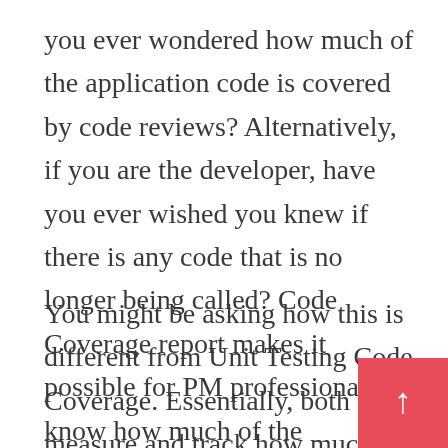you ever wondered how much of the application code is covered by code reviews? Alternatively, if you are the developer, have you ever wished you knew if there is any code that is no longer being called? Code Coverage report makes it possible for PM professionals to know how much of the application code is being covered by Code Review.
You might be asking how this is different from Unit Testing Code Coverage. Essentially, both measure and track how much of the code is being covered by tests. Unit Test code coverage is a good metric but does not necessarily measure the quality of the tests. Unit tests that cover a lot of code may be good tests. Therefore, if all of the applic